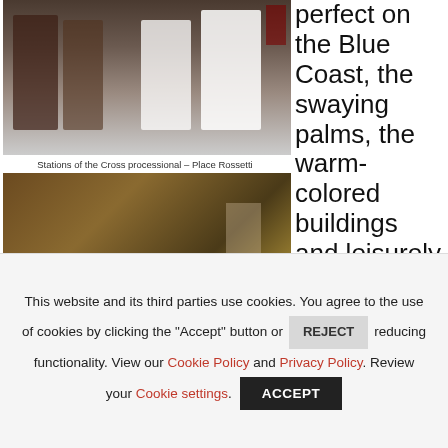[Figure (photo): Stations of the Cross processional showing people in white robes from behind in a restaurant/church setting]
Stations of the Cross processional – Place Rossetti
[Figure (photo): A plated salad dish on a white square plate with wine glasses visible, restaurant table setting]
perfect on the Blue Coast, the swaying palms, the warm-colored buildings and leisurely lifestyle melt the blues
This website and its third parties use cookies. You agree to the use of cookies by clicking the "Accept" button or REJECT reducing functionality. View our Cookie Policy and Privacy Policy. Review your Cookie settings.